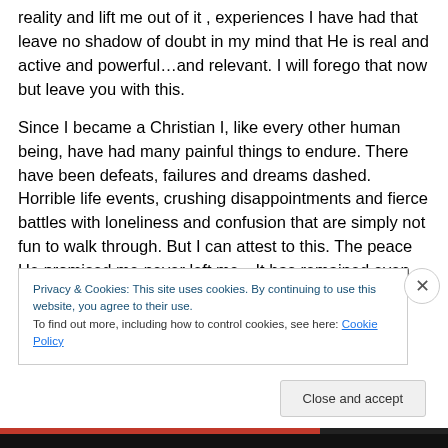reality and lift me out of it , experiences I have had that leave no shadow of doubt in my mind that He is real and active and powerful…and relevant.  I will forego that now but leave you with this.
Since I became a Christian I, like every other human being, have had many painful things to endure.  There have been defeats, failures and dreams dashed.   Horrible life events, crushing disappointments and fierce battles with loneliness and confusion that are simply not fun to walk through.  But I can attest to this.  The peace He promised me never left me…It has remained even while I
Privacy & Cookies: This site uses cookies. By continuing to use this website, you agree to their use.
To find out more, including how to control cookies, see here: Cookie Policy
Close and accept